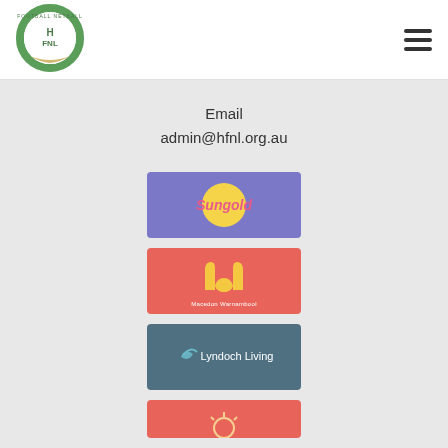[Figure (logo): Harcourt Football Netball League circular green and gold logo]
Email
admin@hfnl.org.au
[Figure (logo): Sungold logo — purple background with yellow sun circle and pink Sungold text]
[Figure (logo): McDonald's Macedon Warnambool logo — red/coral background with golden arches and text]
[Figure (logo): Lyndoch Living logo — slate/teal background with white text and swoosh icon]
[Figure (logo): Partial sponsor logo — red/coral background with sun-like icon, partially visible]